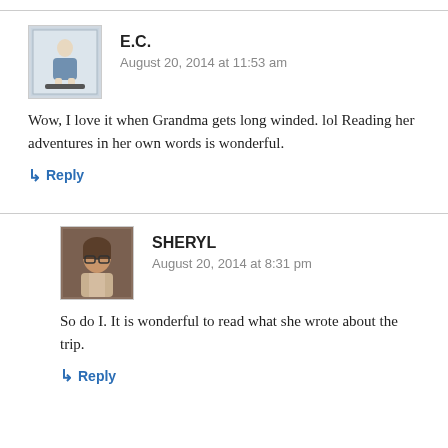[Figure (photo): Avatar image for commenter E.C. — a small illustration/cross-stitch style image of a figure in a dress]
E.C.
August 20, 2014 at 11:53 am
Wow, I love it when Grandma gets long winded. lol Reading her adventures in her own words is wonderful.
↳ Reply
[Figure (photo): Avatar photo of Sheryl — a woman with short hair and glasses]
SHERYL
August 20, 2014 at 8:31 pm
So do I. It is wonderful to read what she wrote about the trip.
↳ Reply